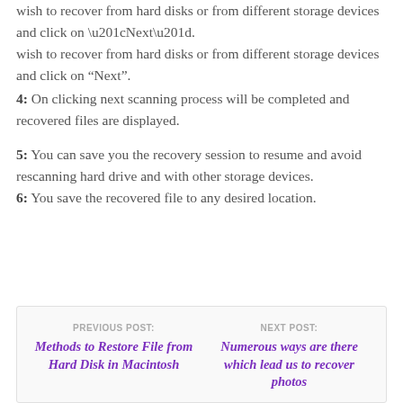wish to recover from hard disks or from different storage devices and click on “Next”.
4: On clicking next scanning process will be completed and recovered files are displayed.
5: You can save you the recovery session to resume and avoid rescanning hard drive and with other storage devices.
6: You save the recovered file to any desired location.
PREVIOUS POST: Methods to Restore File from Hard Disk in Macintosh | NEXT POST: Numerous ways are there which lead us to recover photos